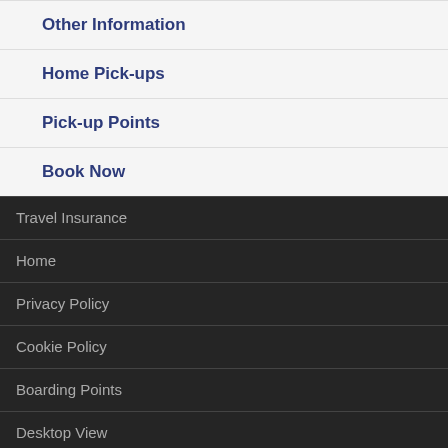Other Information
Home Pick-ups
Pick-up Points
Book Now
Travel Insurance
Home
Privacy Policy
Cookie Policy
Boarding Points
Desktop View